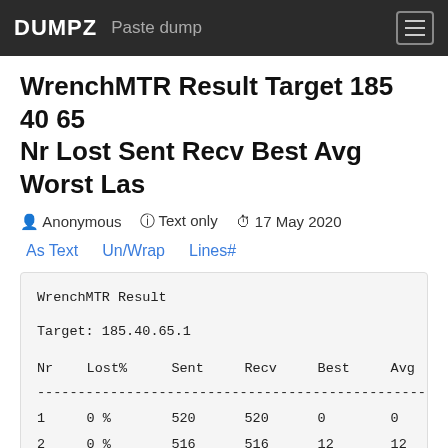DUMPZ  Paste dump
WrenchMTR Result Target 185 40 65 Nr Lost Sent Recv Best Avg Worst Las
Anonymous   Text only   17 May 2020
As Text   Un/Wrap   Lines#
| Nr | Lost% | Sent | Recv | Best | Avg |
| --- | --- | --- | --- | --- | --- |
| 1 | 0 % | 520 | 520 | 0 | 0 |
| 2 | 0 % | 516 | 516 | 12 | 12 |